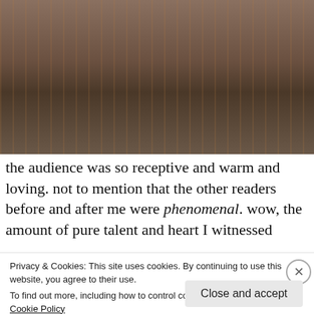[Figure (photo): A woman with arms outstretched and smiling, standing in front of bookshelves in a bookstore or library, wearing a black dress and denim jacket.]
the audience was so receptive and warm and loving. not to mention that the other readers before and after me were phenomenal. wow, the amount of pure talent and heart I witnessed
Privacy & Cookies: This site uses cookies. By continuing to use this website, you agree to their use.
To find out more, including how to control cookies, see here:
Cookie Policy
Close and accept